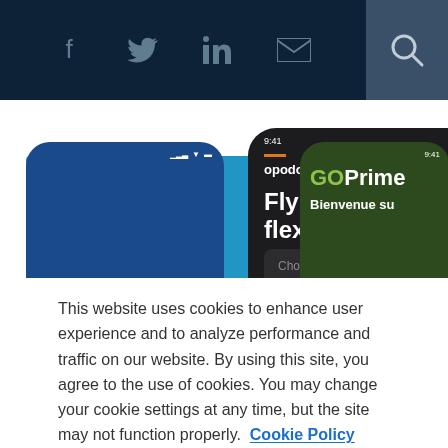[Figure (screenshot): Website header with dark navy background showing social media icons (Facebook, Twitter, LinkedIn, email) and a search icon in a grey box on the right]
[Figure (screenshot): Three mobile phone mockups showing Opodo Prime travel app screens: left phone has blue background with Spanish text 'nde sea ilidad' and 'ara tu viaje', center phone (dark) shows 'Fly anywhere with flexibility' headline with 'Choose your destination' search bar and 'All you need for your trip', right phone shows green GO Prime screen with 'Bienvenue su' and 'Service client g' with loyalty program info]
This website uses cookies to enhance user experience and to analyze performance and traffic on our website. By using this site, you agree to the use of cookies. You may change your cookie settings at any time, but the site may not function properly.  Cookie Policy
Close